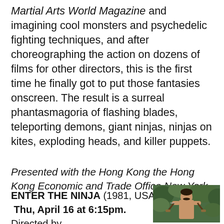Martial Arts World Magazine and imagining cool monsters and psychedelic fighting techniques, and after choreographing the action on dozens of films for other directors, this is the first time he finally got to put those fantasies onscreen. The result is a surreal phantasmagoria of flashing blades, teleporting demons, giant ninjas, ninjas on kites, exploding heads, and killer puppets.
Presented with the Hong Kong the Hong Kong Economic and Trade Office New York.
ENTER THE NINJA (1981, USA) – Thu, April 16 at 6:15pm.
[Figure (photo): A shirtless man with a mustache holding nunchucks, standing outdoors in front of greenery.]
Directed by...